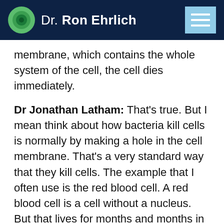Dr. Ron Ehrlich
membrane, which contains the whole system of the cell, the cell dies immediately.
Dr Jonathan Latham: That’s true. But I mean think about how bacteria kill cells is normally by making a hole in the cell membrane. That’s a very standard way that they kill cells. The example that I often use is the red blood cell. A red blood cell is a cell without a nucleus. But that lives for months and months in your blood. It functions to collect oxygen and dispense oxygen and does a whole load of basic